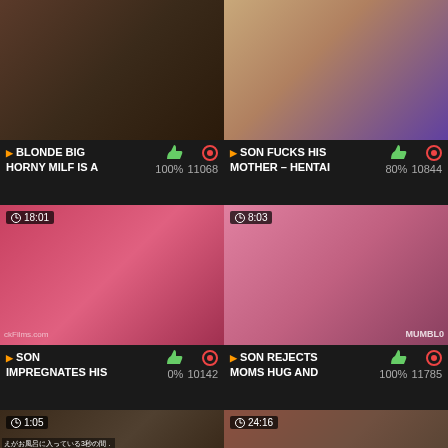[Figure (screenshot): Video thumbnail 1 - top left]
[Figure (screenshot): Video thumbnail 2 - top right, animation style]
▶ BLONDE BIG HORNY MILF IS A   👍 100%  👁 11068
▶ SON FUCKS HIS MOTHER - HENTAI   👍 80%  👁 10844
[Figure (screenshot): Video thumbnail 3 - middle left, duration 18:01, woman in red shirt]
[Figure (screenshot): Video thumbnail 4 - middle right, duration 8:03, woman in pink]
▶ SON IMPREGNATES HIS   👍 0%  👁 10142
▶ SON REJECTS MOMS HUG AND   👍 100%  👁 11785
[Figure (screenshot): Video thumbnail 5 - bottom left, duration 1:05, Asian woman]
[Figure (screenshot): Video thumbnail 6 - bottom right, duration 24:16, couple]